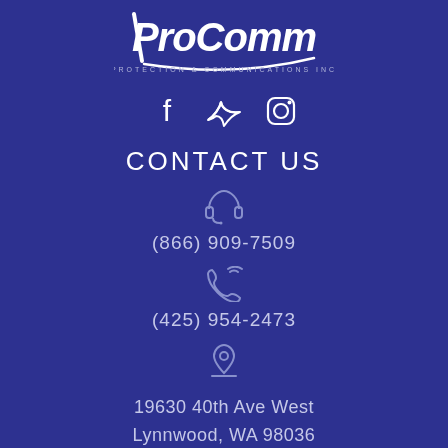[Figure (logo): ProComm Protection & Communications Inc logo in white on dark blue background]
[Figure (illustration): Social media icons: Facebook, Twitter, Instagram in white outline style]
CONTACT US
[Figure (illustration): Headset/customer service icon]
(866) 909-7509
[Figure (illustration): Phone with signal waves icon]
(425) 954-2473
[Figure (illustration): Location/map pin icon]
19630 40th Ave West
Lynnwood, WA 98036